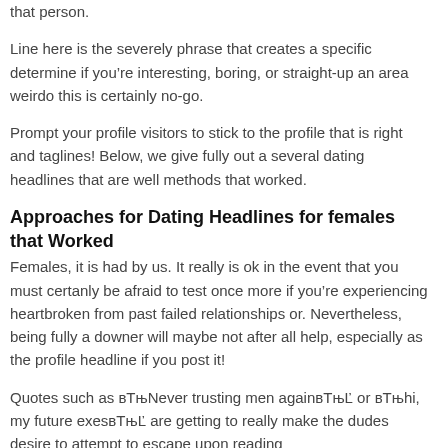that person.
Line here is the severely phrase that creates a specific determine if you’re interesting, boring, or straight-up an area weirdo this is certainly no-go.
Prompt your profile visitors to stick to the profile that is right and taglines! Below, we give fully out a several dating headlines that are well methods that worked.
Approaches for Dating Headlines for females that Worked
Females, it is had by us. It really is ok in the event that you must certanly be afraid to test once more if you’re experiencing heartbroken from past failed relationships or. Nevertheless, being fully a downer will maybe not after all help, especially as the profile headline if you post it!
Quotes such as “Never trusting men again” or “hi, my future exes” are getting to really make the dudes desire to attempt to escape upon reading